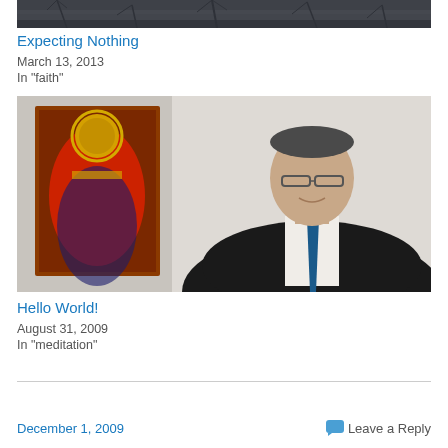[Figure (photo): Top portion of an outdoor winter photo showing bare tree branches against a sky, cropped to a narrow strip at the top of the page]
Expecting Nothing
March 13, 2013
In "faith"
[Figure (photo): Portrait photo of a middle-aged man wearing glasses, a dark suit jacket, white shirt, and blue tie, standing in front of a wall with a religious icon painting (Orthodox Christian style icon showing a saint in red robes) visible in the background to the left]
Hello World!
August 31, 2009
In "meditation"
December 1, 2009   Leave a Reply